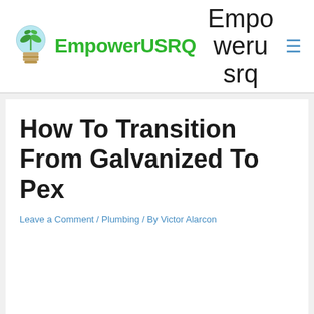[Figure (logo): EmpowerUSRQ logo with a light bulb containing a plant, alongside bold green text 'EmpowerUSRQ']
Empowerusrq
How To Transition From Galvanized To Pex
Leave a Comment / Plumbing / By Victor Alarcon